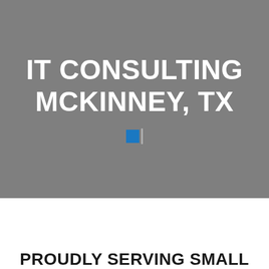IT CONSULTING MCKINNEY, TX
[Figure (logo): Small blue square icon with a gray vertical line, used as a decorative divider element]
PROUDLY SERVING SMALL